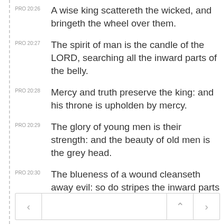PRO 20:26 A wise king scattereth the wicked, and bringeth the wheel over them.
PRO 20:27 The spirit of man is the candle of the LORD, searching all the inward parts of the belly.
PRO 20:28 Mercy and truth preserve the king: and his throne is upholden by mercy.
PRO 20:29 The glory of young men is their strength: and the beauty of old men is the grey head.
PRO 20:30 The blueness of a wound cleanseth away evil: so do stripes the inward parts of the belly.